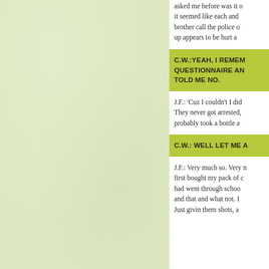asked me before was it o it seemed like each and brother call the police o up appears to be hurt a
C.W.: YEAH, I REMEM QUESTIONNAIRE AN TOLD ME NO.
J.F.: 'Cuz I couldn't I did They never got arrested, probably took a bottle a
C.W.: WELL LET ME A
J.F.: Very much so. Very n first bought my pack of c had went through schoo and that and what not. I Just givin them shots, a